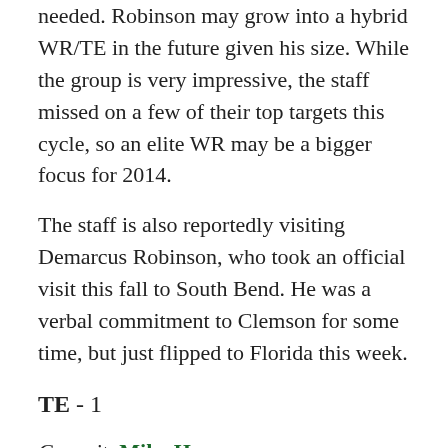needed. Robinson may grow into a hybrid WR/TE in the future given his size. While the group is very impressive, the staff missed on a few of their top targets this cycle, so an elite WR may be a bigger focus for 2014.
The staff is also reportedly visiting Demarcus Robinson, who took an official visit this fall to South Bend. He was a verbal commitment to Clemson for some time, but just flipped to Florida this week.
TE - 1
Commit: Mike Heuerman
The staff has been set with one TE for the majority of this cycle, but there are some rumblings around them checking with Heuerman if he is okay with the staff